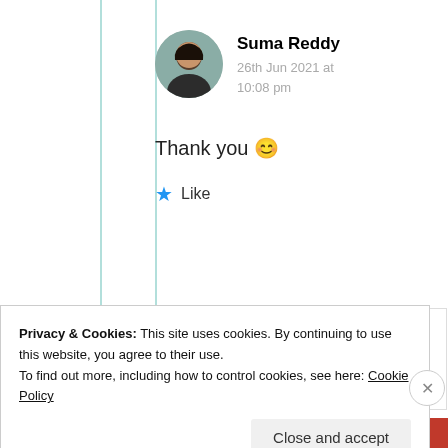[Figure (screenshot): Screenshot of a blog comment section showing user Suma Reddy with avatar, date 26th Jun 2021 at 10:08 pm, comment text 'Thank you 😊', a Like button with blue star, a second comment box partially visible with user ahmad khizar, and a cookie consent banner at the bottom.]
Suma Reddy
26th Jun 2021 at
10:08 pm
Thank you 😊
★ Like
ahmad khizar
Privacy & Cookies: This site uses cookies. By continuing to use this website, you agree to their use.
To find out more, including how to control cookies, see here: Cookie Policy
Close and accept